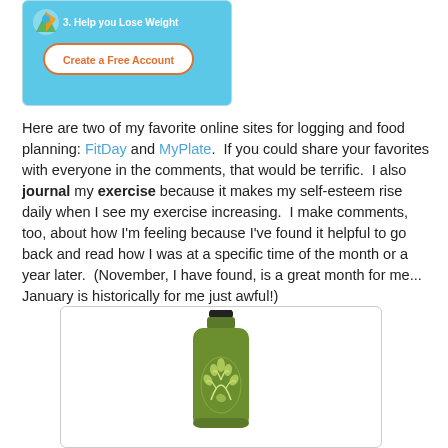[Figure (screenshot): Screenshot of a website (likely MyFitnessPal or similar) with blue background showing '3. Help you Lose Weight' text and a 'Create a Free Account' button with orange border]
Here are two of my favorite online sites for logging and food planning: FitDay and MyPlate.  If you could share your favorites with everyone in the comments, that would be terrific.  I also journal my exercise because it makes my self-esteem rise daily when I see my exercise increasing.  I make comments, too, about how I'm feeling because I've found it helpful to go back and read how I was at a specific time of the month or a year later.  (November, I have found, is a great month for me... January is historically for me just awful!)
[Figure (photo): Green metal water bottle with white leaf/floral design on a white background, with a black cap/loop at the top]